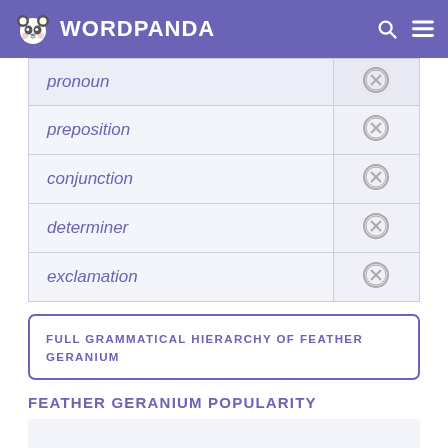WORDPANDA
| pronoun |  |
| preposition |  |
| conjunction |  |
| determiner |  |
| exclamation |  |
FULL GRAMMATICAL HIERARCHY OF FEATHER GERANIUM
FEATHER GERANIUM POPULARITY
[Figure (other): Popularity chart area placeholder]